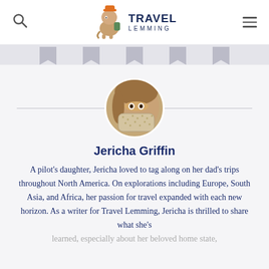Travel Lemming
[Figure (photo): Travel Lemming logo with cartoon lemming character wearing a backpack and hat]
[Figure (illustration): Five grey bookmark/ribbon tab icons in a row on a light grey background]
[Figure (photo): Circular profile photo of Jericha Griffin wearing a patterned face mask]
Jericha Griffin
A pilot's daughter, Jericha loved to tag along on her dad's trips throughout North America. On explorations including Europe, South Asia, and Africa, her passion for travel expanded with each new horizon. As a writer for Travel Lemming, Jericha is thrilled to share what she's learned, especially about her beloved home state,